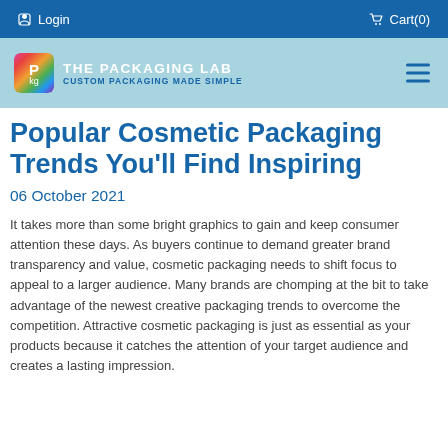Login   Cart(0)
[Figure (logo): The Packaging Lab logo with colorful P/kg icon and text 'THE PACKAGING LAB / CUSTOM PACKAGING MADE SIMPLE' on light blue background]
Popular Cosmetic Packaging Trends You'll Find Inspiring
06 October 2021
It takes more than some bright graphics to gain and keep consumer attention these days. As buyers continue to demand greater brand transparency and value, cosmetic packaging needs to shift focus to appeal to a larger audience. Many brands are chomping at the bit to take advantage of the newest creative packaging trends to overcome the competition. Attractive cosmetic packaging is just as essential as your products because it catches the attention of your target audience and creates a lasting impression.